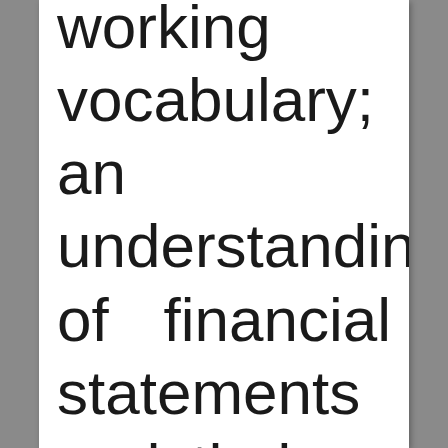working vocabulary; an understanding of financial statements and their limitations; the use of performance measures to